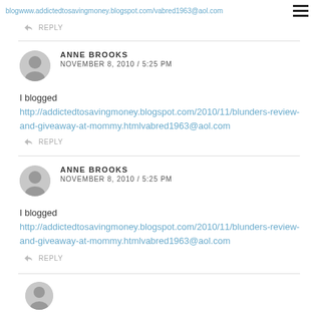blogwww.addictedtosavingmoney.blogspot.com/vabred1963@aol.com
REPLY
ANNE BROOKS
NOVEMBER 8, 2010 / 5:25 PM
I blogged http://addictedtosavingmoney.blogspot.com/2010/11/blunders-review-and-giveaway-at-mommy.htmlvabred1963@aol.com
REPLY
ANNE BROOKS
NOVEMBER 8, 2010 / 5:25 PM
I blogged http://addictedtosavingmoney.blogspot.com/2010/11/blunders-review-and-giveaway-at-mommy.htmlvabred1963@aol.com
REPLY